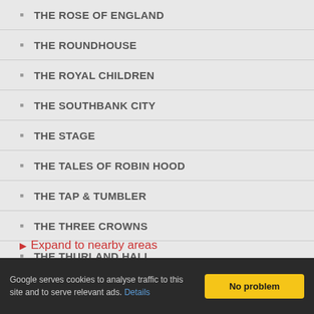THE ROSE OF ENGLAND
THE ROUNDHOUSE
THE ROYAL CHILDREN
THE SOUTHBANK CITY
THE STAGE
THE TALES OF ROBIN HOOD
THE TAP & TUMBLER
THE THREE CROWNS
THE THURLAND HALL
VIA FOSSA
▶ Expand to nearby areas
Google serves cookies to analyse traffic to this site and to serve relevant ads. Details